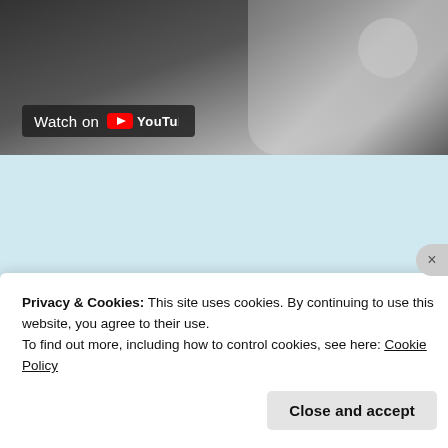[Figure (screenshot): YouTube video thumbnail showing 'Watch on YouTube' badge over a dark background with a person's hand holding a camera strap]
[Figure (illustration): Day One journaling app advertisement on a blue background showing a person holding a phone with journal and list icons above, logo text 'DAY ONE' and tagline 'The only journaling app you'll ever need.']
Privacy & Cookies: This site uses cookies. By continuing to use this website, you agree to their use.
To find out more, including how to control cookies, see here: Cookie Policy
Close and accept